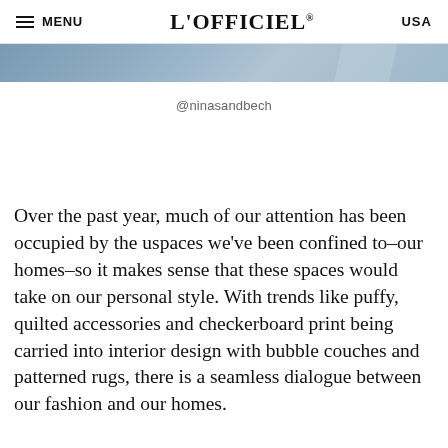MENU | L'OFFICIEL® | USA
[Figure (photo): Partial image of an interior scene with blue-gray tones]
@ninasandbech
Over the past year, much of our attention has been occupied by the uspaces we've been confined to–our homes–so it makes sense that these spaces would take on our personal style. With trends like puffy, quilted accessories and checkerboard print being carried into interior design with bubble couches and patterned rugs, there is a seamless dialogue between our fashion and our homes.